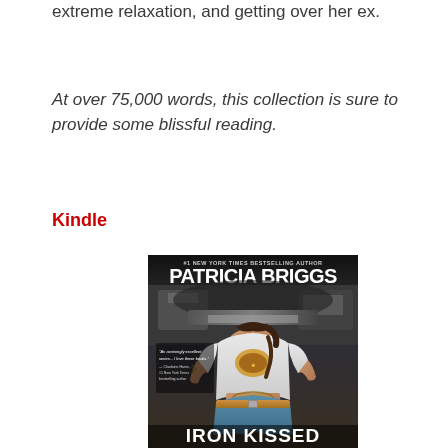extreme relaxation, and getting over her ex.
At over 75,000 words, this collection is sure to provide some blissful reading.
Kindle
[Figure (photo): Book cover for 'Iron Kissed' by Patricia Briggs, #1 New York Times Bestselling Author. Shows a woman from the back working on a car engine, wearing a white t-shirt with a tattoo on her lower back. Quote: 'An acrrisingly excellent series... I love these books.' — Charlaine Harris, #1 New York Times bestselling author. Title 'Iron Kissed' at the bottom.]